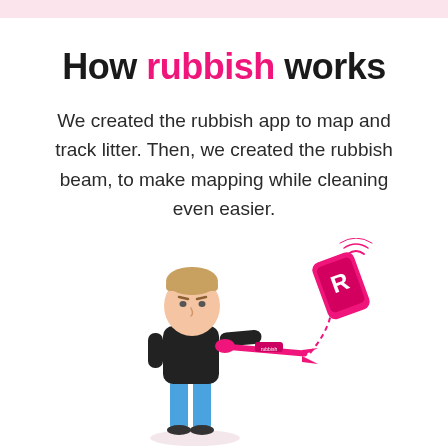How rubbish works
We created the rubbish app to map and track litter. Then, we created the rubbish beam, to make mapping while cleaning even easier.
[Figure (illustration): Cartoon illustration of a man in a black t-shirt and blue jeans holding a pink litter picker/grabber tool, with a pink smartphone with the letter R floating above connected by a dashed curved line, suggesting wireless/Bluetooth connectivity between the rubbish beam device and the app.]